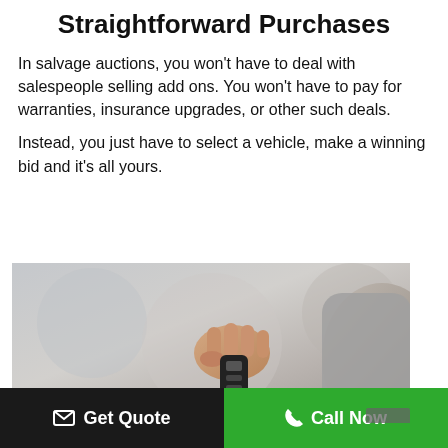Straightforward Purchases
In salvage auctions, you won't have to deal with salespeople selling add ons. You won't have to pay for warranties, insurance upgrades, or other such deals.
Instead, you just have to select a vehicle, make a winning bid and it's all yours.
[Figure (photo): A hand holding car keys being passed to another person, suggesting a vehicle purchase transaction.]
Get Quote  Call Now